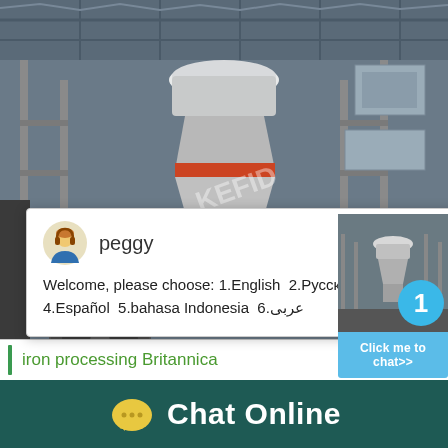[Figure (photo): Industrial cone crusher or similar heavy machinery installed in a large factory/warehouse setting. The machine is white with red accents, surrounded by metal scaffolding and structural supports under a steel roof.]
[Figure (screenshot): Live chat popup window with avatar of 'peggy', showing a welcome message with language selection options in English, Russian, French, Spanish, Indonesian, and Arabic.]
Welcome, please choose: 1.English  2.Русский 3.Français 4.Español  5.bahasa Indonesia  6.عربى
[Figure (screenshot): Right-side widget showing small thumbnail of industrial machinery with a cyan badge showing '1' and a 'Click me to chat>>' button below.]
iron processing Britannica
Chat Online